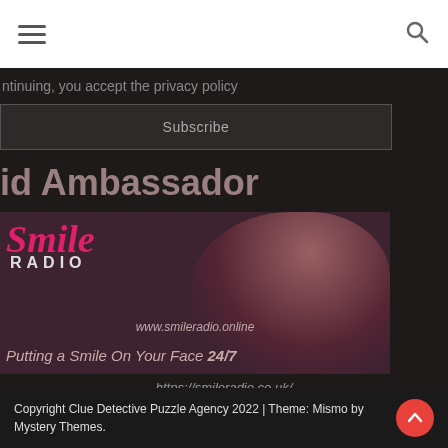[hamburger menu icon] [search icon]
ntinuing, you accept the privacy policy
Subscribe
id Ambassador
[Figure (photo): Smile Radio advertisement banner showing a woman wearing headphones smiling, with Smile Radio logo, website www.smileradio.online, and tagline 'Putting a Smile On Your Face 24/7']
https://smileradio.co.uk/
Copyright Clue Detective Puzzle Agency 2022 | Theme: Mismo by Mystery Themes.